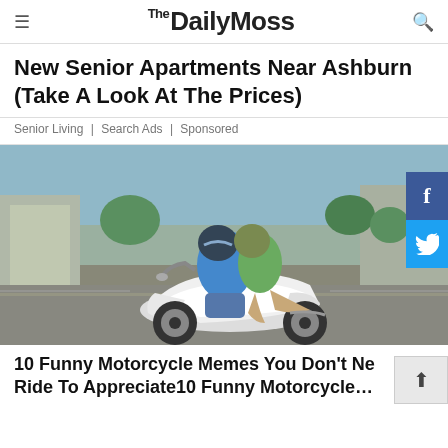TheDailyMoss
New Senior Apartments Near Ashburn (Take A Look At The Prices)
Senior Living | Search Ads | Sponsored
[Figure (photo): Two people riding a white sport motorcycle on a road. Both wearing helmets. The passenger is sitting behind the rider.]
10 Funny Motorcycle Memes You Don't Need To Ride To Appreciate10 Funny Motorcycle…